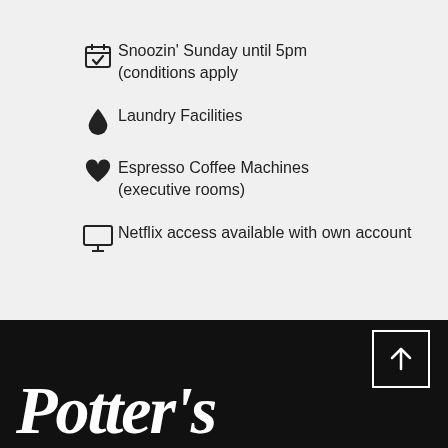Snoozin' Sunday until 5pm (conditions apply
Laundry Facilities
Espresso Coffee Machines (executive rooms)
Netflix access available with own account
[Figure (logo): Potter's cursive script logo in white on black background]
[Figure (other): Back to top arrow button in square border, white on black]